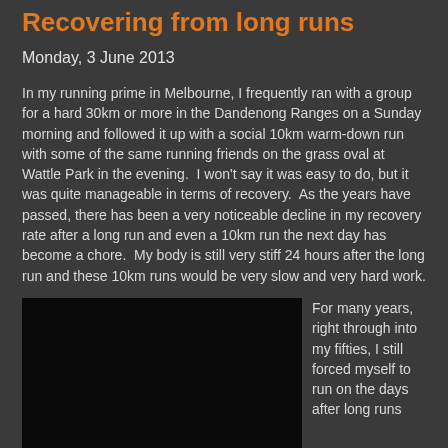Recovering from long runs
Monday, 3 June 2013
In my running prime in Melbourne, I frequently ran with a group for a hard 30km or more in the Dandenong Ranges on a Sunday morning and followed it up with a social 10km warm-down run with some of the same running friends on the grass oval at Wattle Park in the evening.  I won't say it was easy to do, but it was quite manageable in terms of recovery.  As the years have passed, there has been a very noticeable decline in my recovery rate after a long run and even a 10km run the next day has become a chore.  My body is still very stiff 24 hours after the long run and these 10km runs would be very slow and very hard work.
[Figure (photo): Dark/black photograph, content not visible]
For many years, right through into my fifties, I still forced myself to run on the days after long runs